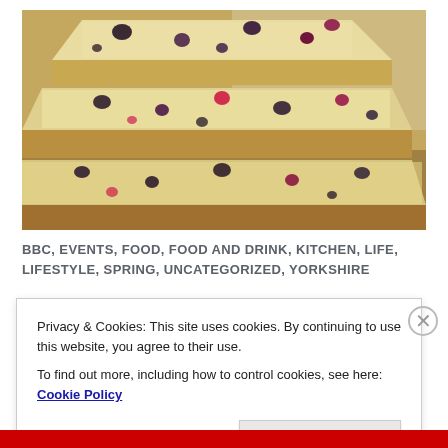[Figure (photo): Stacked berry cake/bar slices — golden sponge with blueberries and raspberries, cut into rectangular pieces and piled up]
BBC, EVENTS, FOOD, FOOD AND DRINK, KITCHEN, LIFE, LIFESTYLE, SPRING, UNCATEGORIZED, YORKSHIRE
Privacy & Cookies: This site uses cookies. By continuing to use this website, you agree to their use.
To find out more, including how to control cookies, see here: Cookie Policy